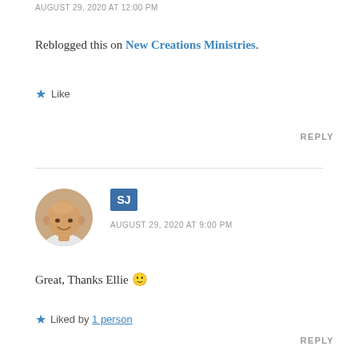AUGUST 29, 2020 AT 12:00 PM
Reblogged this on New Creations Ministries.
★ Like
REPLY
[Figure (photo): Circular avatar photo of a smiling bald man]
SJ
AUGUST 29, 2020 AT 9:00 PM
Great, Thanks Ellie 🙂
★ Liked by 1 person
REPLY